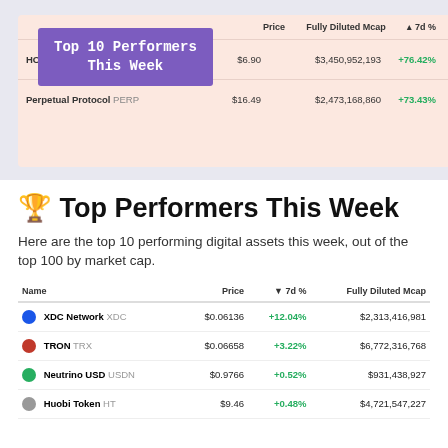[Figure (table-as-image): Partial table preview showing crypto top performers with overlay label 'Top 10 Performers This Week'. Rows visible: HOD... $6.90 $3,450,952,193 +76.42% and Perpetual Protocol PERP $16.49 $2,473,168,860 +73.43%]
🏆 Top Performers This Week
Here are the top 10 performing digital assets this week, out of the top 100 by market cap.
| Name | Price | ▼ 7d % | Fully Diluted Mcap |
| --- | --- | --- | --- |
| XDC Network XDC | $0.06136 | +12.04% | $2,313,416,981 |
| TRON TRX | $0.06658 | +3.22% | $6,772,316,768 |
| Neutrino USD USDN | $0.9766 | +0.52% | $931,438,927 |
| Huobi Token HT | $9.46 | +0.48% | $4,721,547,227 |